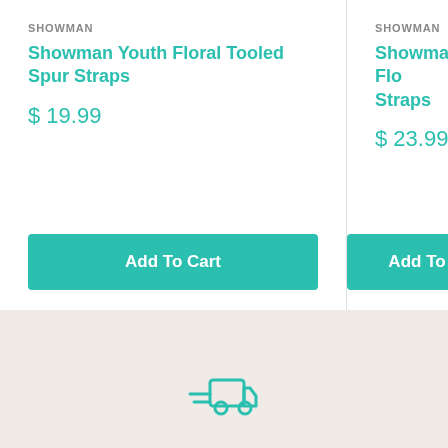SHOWMAN
Showman Youth Floral Tooled Spur Straps
$ 19.99
Add To Cart
SHOWMAN
Showman Youth Flo... Straps
$ 23.99
Add To
[Figure (illustration): Teal delivery truck icon with motion lines indicating fast/free shipping]
Free Shipping
We offer a combination of ground... $200